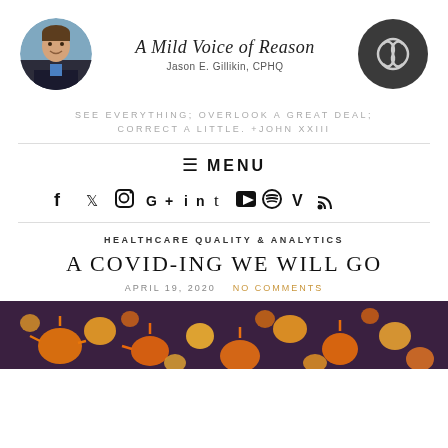[Figure (photo): Circular avatar photo of Jason E. Gillikin, a man in a dark suit and blue shirt, smiling]
A Mild Voice of Reason
Jason E. Gillikin, CPHQ
[Figure (logo): Dark circular logo with stylized leaf/infinity design in white on dark grey background]
SEE EVERYTHING; OVERLOOK A GREAT DEAL; CORRECT A LITTLE. +JOHN XXIII
☰ MENU
[Figure (infographic): Social media icons row: Facebook, Twitter, Instagram, Google+, LinkedIn, Tumblr, YouTube, Spotify, Vine, RSS]
HEALTHCARE QUALITY & ANALYTICS
A COVID-ING WE WILL GO
APRIL 19, 2020   NO COMMENTS
[Figure (photo): Close-up photo of orange/yellow coronavirus particles (COVID-19) on dark purple/grey background]